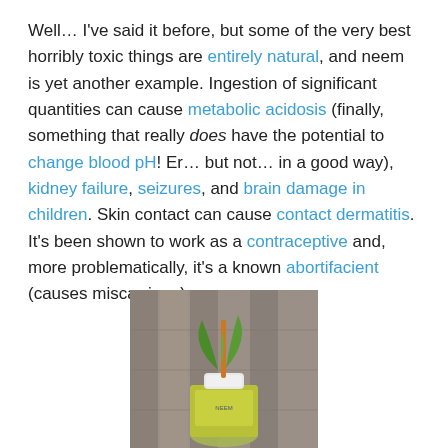Well… I've said it before, but some of the very best horribly toxic things are entirely natural, and neem is yet another example. Ingestion of significant quantities can cause metabolic acidosis (finally, something that really does have the potential to change blood pH! Er… but not… in a good way), kidney failure, seizures, and brain damage in children. Skin contact can cause contact dermatitis. It's been shown to work as a contraceptive and, more problematically, it's a known abortifacient (causes miscarriage).
[Figure (photo): A photo of a small plant with green leaves growing out of a bottle of neem oil (yellowish-green liquid), placed against a wooden fence background.]